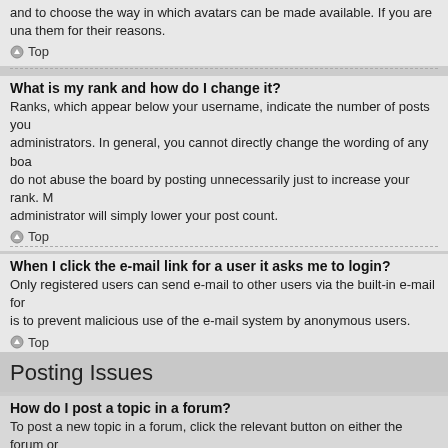and to choose the way in which avatars can be made available. If you are unable to find them for their reasons.
Top
What is my rank and how do I change it?
Ranks, which appear below your username, indicate the number of posts you have made or identify certain users, e.g. moderators and administrators. In general, you cannot directly change the wording of any board ranks as they are set by the board administrator. Please do not abuse the board by posting unnecessarily just to increase your rank. Most boards will not tolerate this and the moderator or administrator will simply lower your post count.
Top
When I click the e-mail link for a user it asks me to login?
Only registered users can send e-mail to other users via the built-in e-mail form, and only if the administrator has enabled this feature. This is to prevent malicious use of the e-mail system by anonymous users.
Top
Posting Issues
How do I post a topic in a forum?
To post a new topic in a forum, click the relevant button on either the forum or topic screens. You may need to register before you can post a message. A list of your permissions in each forum is available at the bottom of the forum and topic screens. Example: You can post new topics, You can vote in polls, etc.
Top
How do I edit or delete a post?